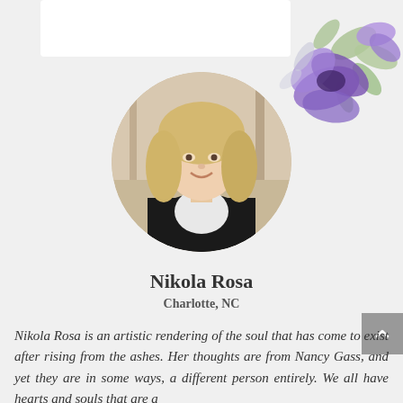[Figure (illustration): Watercolor floral decoration with purple flowers and green leaves in the top-right corner]
[Figure (photo): Circular portrait photo of a blonde woman smiling, wearing a black jacket over a white top, outdoors background]
Nikola Rosa
Charlotte, NC
Nikola Rosa is an artistic rendering of the soul that has come to exist after rising from the ashes. Her thoughts are from Nancy Gass, and yet they are in some ways, a different person entirely. We all have hearts and souls that are a